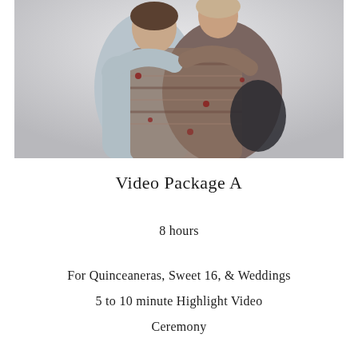[Figure (photo): A couple embracing, wrapped in a patterned blanket/jacket, soft light background]
Video Package A
8 hours
For Quinceaneras, Sweet 16, & Weddings
5 to 10 minute Highlight Video
Ceremony